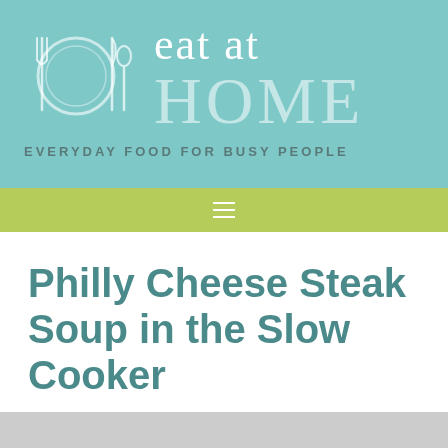[Figure (logo): Eat at Home blog logo with cutlery icon, teal background, text 'eat at HOME' and tagline 'EVERYDAY FOOD FOR BUSY PEOPLE']
Philly Cheese Steak Soup in the Slow Cooker
by Tiffany King — 6 Comments
[Figure (photo): Partial image strip at bottom of page, gray placeholder]